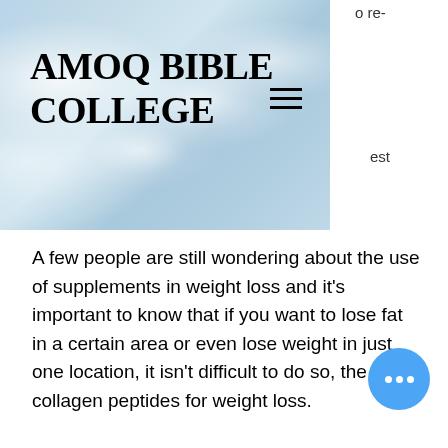[Figure (screenshot): AMOQ Bible College website header with cloudy sky background, bold college name, and hamburger menu icon]
o re-
est
A few people are still wondering about the use of supplements in weight loss and it's important to know that if you want to lose fat in a certain area or even lose weight in just one location, it isn't difficult to do so, the best collagen peptides for weight loss.
Most experts agree that it is best to take supplements. It has to be for health reasons and since we know that most of us don't want to lose weight, we're just happy to know that we have it on time or that what we're consuming has a few grams of protein to help us.
Let's have a look at a few tips of what to